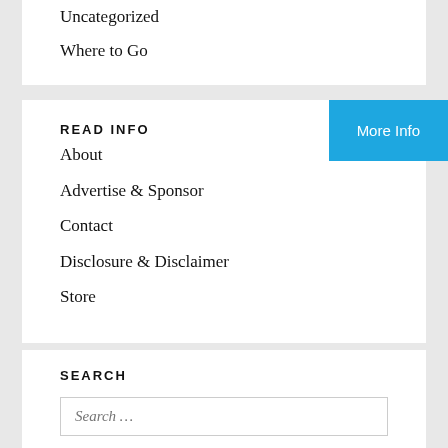Uncategorized
Where to Go
READ INFO
More Info
About
Advertise & Sponsor
Contact
Disclosure & Disclaimer
Store
SEARCH
Search …